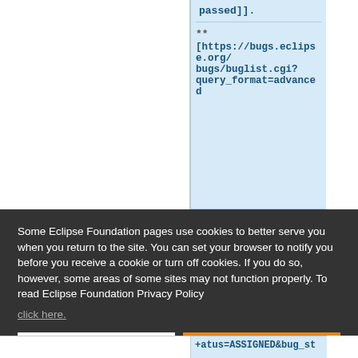passed]].
** [https://bugs.eclipse.org/bugs/buglist.cgi?query_format=advanced
Some Eclipse Foundation pages use cookies to better serve you when you return to the site. You can set your browser to notify you before you receive a cookie or turn off cookies. If you do so, however, some areas of some sites may not function properly. To read Eclipse Foundation Privacy Policy click here.
+atus=ASSIGNED&bug_st